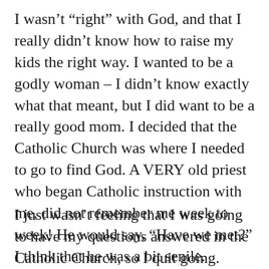I wasn't “right” with God, and that I really didn’t know how to raise my kids the right way. I wanted to be a godly woman – I didn’t know exactly what that meant, but I did want to be a really good mom. I decided that the Catholic Church was where I needed to go to find God. A VERY old priest who began Catholic instruction with me, did not remember me week to week! He would say, “Have we met?” I think that he was a bit senile.
I just wasn’t feeling that I was going to have my questions answered in the Catholic Church, so I quit going.